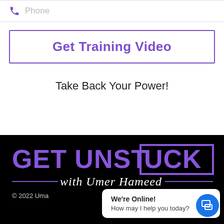[Figure (other): Phone icon with placeholder label 'Phone' and separator line below]
Phone
Get Training Video
Take Back Your Power!
[Figure (logo): GET UNSTUCK with Umer Hameed logo in purple on black background]
© 2022 Uma
We're Online!
How may I help you today?